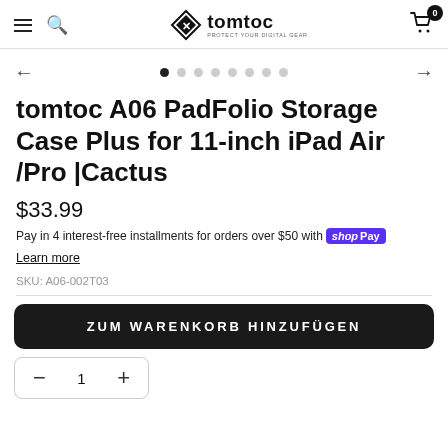tomtoc — PROTECT YOUR DIGITAL GEAR
[Figure (other): Image carousel navigation with left/right arrows and 8 dot indicators, first dot active]
tomtoc A06 PadFolio Storage Case Plus for 11-inch iPad Air /Pro |Cactus
$33.99
Pay in 4 interest-free installments for orders over $50 with shop Pay
Learn more
SKU: A06-002T03
ZUM WARENKORB HINZUFÜGEN
— 1 +